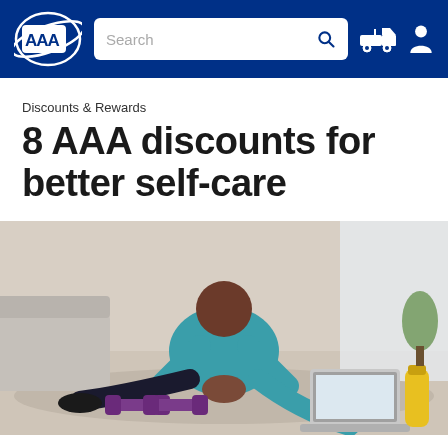AAA navigation bar with logo, search, and icons
Discounts & Rewards
8 AAA discounts for better self-care
[Figure (photo): A person stretching on a yoga mat at home with purple dumbbells, a laptop, and a yellow water bottle nearby]